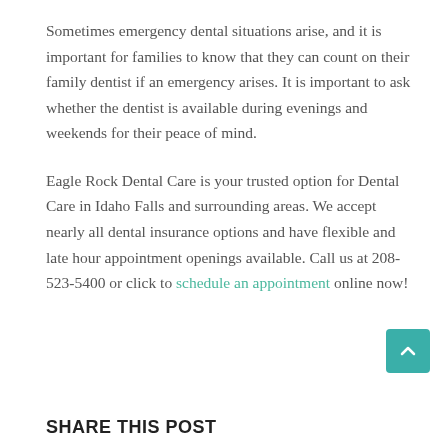Sometimes emergency dental situations arise, and it is important for families to know that they can count on their family dentist if an emergency arises. It is important to ask whether the dentist is available during evenings and weekends for their peace of mind.
Eagle Rock Dental Care is your trusted option for Dental Care in Idaho Falls and surrounding areas. We accept nearly all dental insurance options and have flexible and late hour appointment openings available. Call us at 208-523-5400 or click to schedule an appointment online now!
SHARE THIS POST